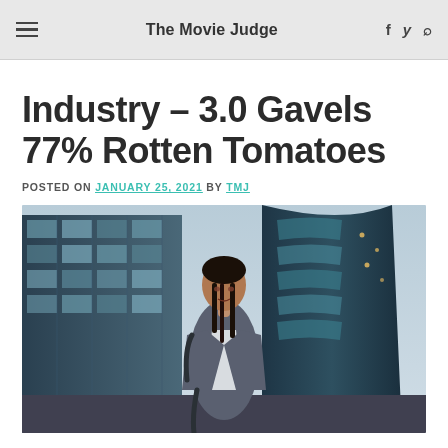The Movie Judge
Industry – 3.0 Gavels 77% Rotten Tomatoes
POSTED ON JANUARY 25, 2021 BY TMJ
[Figure (photo): A young Black woman in a grey blazer and white shirt, carrying a backpack, standing in front of large glass skyscrapers in a city setting.]